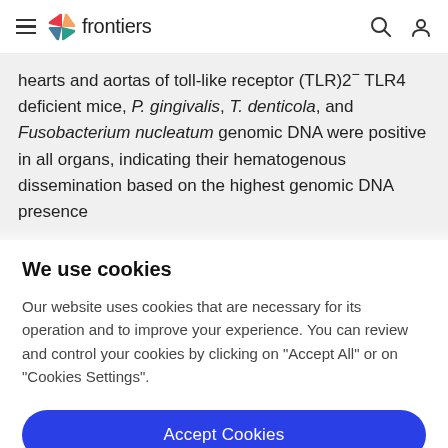frontiers
hearts and aortas of toll-like receptor (TLR)2 − TLR4 deficient mice, P. gingivalis, T. denticola, and Fusobacterium nucleatum genomic DNA were positive in all organs, indicating their hematogenous dissemination based on the highest genomic DNA presence
We use cookies
Our website uses cookies that are necessary for its operation and to improve your experience. You can review and control your cookies by clicking on "Accept All" or on "Cookies Settings".
Accept Cookies
Cookies Settings